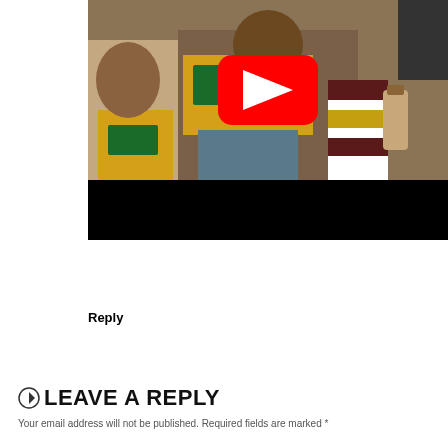[Figure (screenshot): YouTube video thumbnail showing two people sitting outdoors. A child wearing a yellow tank top and an adult in a yellow t-shirt and striped socks holding a bottle. A YouTube play button overlay is visible in the center. The bottom portion of the video frame is black.]
Reply
LEAVE A REPLY
Your email address will not be published. Required fields are marked *